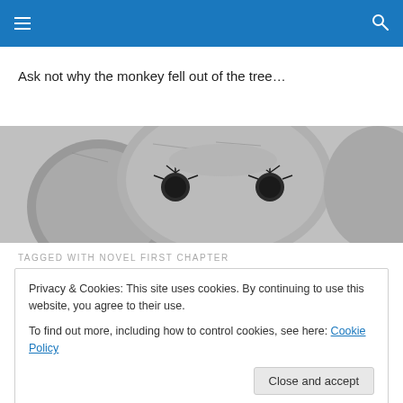Ask not why the monkey fell out of the tree…
[Figure (photo): Close-up black and white photo of a knitted or crocheted monkey face, showing two round eyes with eyelash details, peeking up from the bottom of the frame.]
TAGGED WITH NOVEL FIRST CHAPTER
Privacy & Cookies: This site uses cookies. By continuing to use this website, you agree to their use.
To find out more, including how to control cookies, see here: Cookie Policy

Close and accept
[Figure (photo): Partial bottom image showing a figure, mostly cropped out of view.]